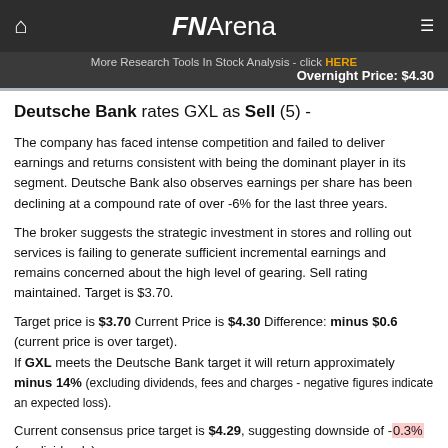FNArena
More Research Tools In Stock Analysis - click HERE
Overnight Price: $4.30
Deutsche Bank rates GXL as Sell (5) -
The company has faced intense competition and failed to deliver earnings and returns consistent with being the dominant player in its segment. Deutsche Bank also observes earnings per share has been declining at a compound rate of over -6% for the last three years.
The broker suggests the strategic investment in stores and rolling out services is failing to generate sufficient incremental earnings and remains concerned about the high level of gearing. Sell rating maintained. Target is $3.70.
Target price is $3.70 Current Price is $4.30 Difference: minus $0.6 (current price is over target). If GXL meets the Deutsche Bank target it will return approximately minus 14% (excluding dividends, fees and charges - negative figures indicate an expected loss).
Current consensus price target is $4.29, suggesting downside of -0.3% (ex-dividends).